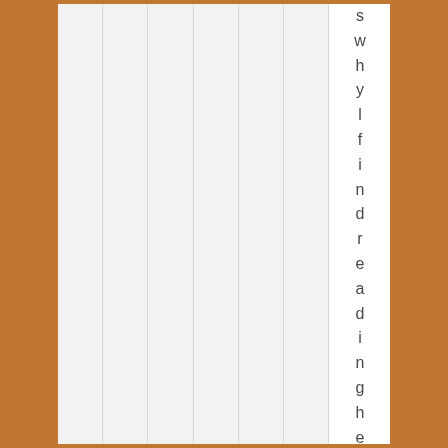[Figure (other): Page with vertical column strips on left side and vertically-oriented text letters on right side reading 's w h y l f i n d r e a d i n g h e r w o' each on its own line, against a brown/orange border background]